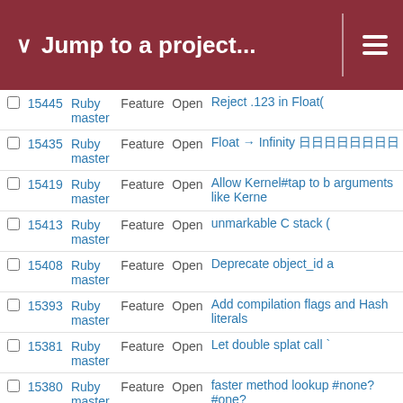Jump to a project...
|  | # | Project | Tracker | Status | Subject |
| --- | --- | --- | --- | --- | --- |
|  | 15445 | Ruby master | Feature | Open | Reject .123 in Float( |
|  | 15435 | Ruby master | Feature | Open | Float → Infinity 日日日日日日日日 |
|  | 15419 | Ruby master | Feature | Open | Allow Kernel#tap to b arguments like Kerne |
|  | 15413 | Ruby master | Feature | Open | unmarkable C stack ( |
|  | 15408 | Ruby master | Feature | Open | Deprecate object_id a |
|  | 15393 | Ruby master | Feature | Open | Add compilation flags and Hash literals |
|  | 15381 | Ruby master | Feature | Open | Let double splat call ` |
|  | 15380 | Ruby master | Feature | Open | faster method lookup #none? #one? |
|  | 15363 | Ruby master | Feature | Open | Case insensitive file s to CONFIG or somew |
|  | 15352 | Ruby master | Feature | Open | Mandatory block para |
|  | 15350 | Ruby master | Feature | Open | [PATCH] thread_sync (queue_sleep): remo checking |
|  | 15338 | Ruby master | Feature | Open | Provide way for C ex if global variable is de |